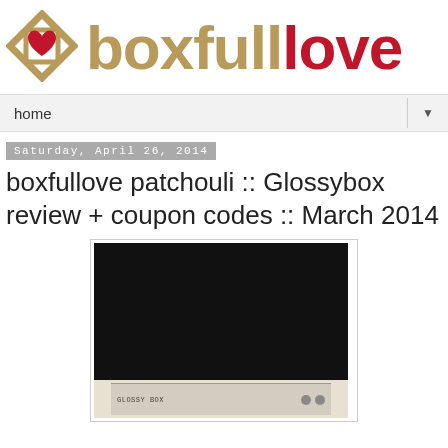[Figure (logo): boxfulllove blog logo with diamond box icon and stylized text in tan/gold and red]
home ▼
Saturday, April 26, 2014
boxfullove patchouli :: Glossybox review + coupon codes :: March 2014
[Figure (photo): Dark/black background product photo showing a Glossybox subscription box partially open, with product labels visible at the bottom]